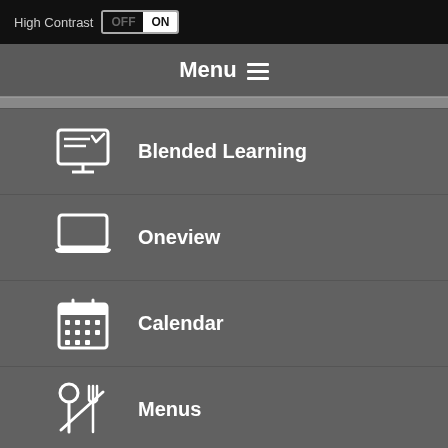High Contrast OFF ON
Menu
Blended Learning
Oneview
Calendar
Menus
Student Safety